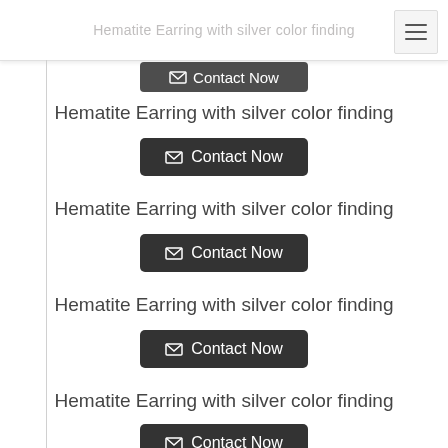Hematite Earring with silver color finding
Hematite Earring with silver color finding
Contact Now
Hematite Earring with silver color finding
Contact Now
Hematite Earring with silver color finding
Contact Now
Hematite Earring with silver color finding
Contact Now
Hematite Earring with silver color finding